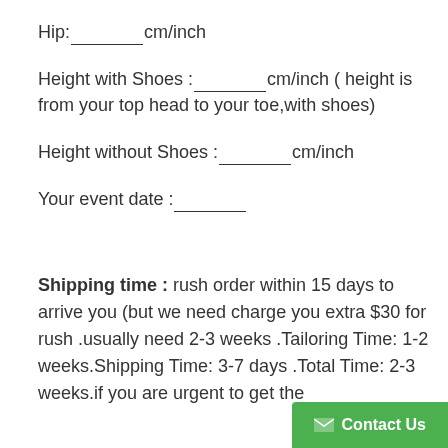Hip:________cm/inch
Height with Shoes :________cm/inch ( height is from your top head to your toe,with shoes)
Height without Shoes :________cm/inch
Your event date :________
Shipping time : rush order within 15 days to arrive you (but we need charge you extra $30 for rush .usually need 2-3 weeks .Tailoring Time: 1-2 weeks.Shipping Time: 3-7 days .Total Time: 2-3 weeks.if you are urgent to get the